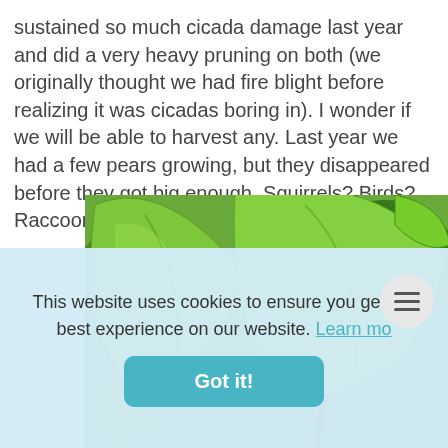sustained so much cicada damage last year and did a very heavy pruning on both (we originally thought we had fire blight before realizing it was cicadas boring in). I wonder if we will be able to harvest any. Last year we had a few pears growing, but they disappeared before they got big enough. Squirrels? Birds? Raccoons? Anyone have growing tips?
[Figure (photo): Close-up photo of green pear tree leaves, some with small holes or damage, with branches visible in background]
This website uses cookies to ensure you get the best experience on our website. Learn mo[re]
Got it!